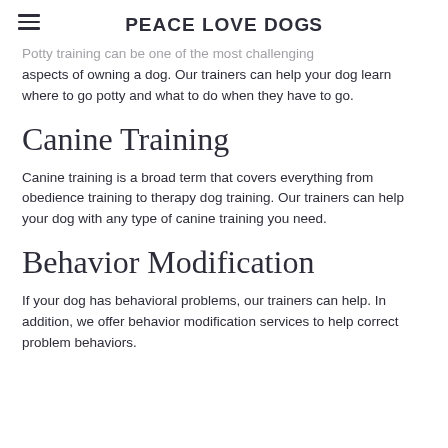PEACE LOVE DOGS
Potty training can be one of the most challenging aspects of owning a dog. Our trainers can help your dog learn where to go potty and what to do when they have to go.
Canine Training
Canine training is a broad term that covers everything from obedience training to therapy dog training. Our trainers can help your dog with any type of canine training you need.
Behavior Modification
If your dog has behavioral problems, our trainers can help. In addition, we offer behavior modification services to help correct problem behaviors.